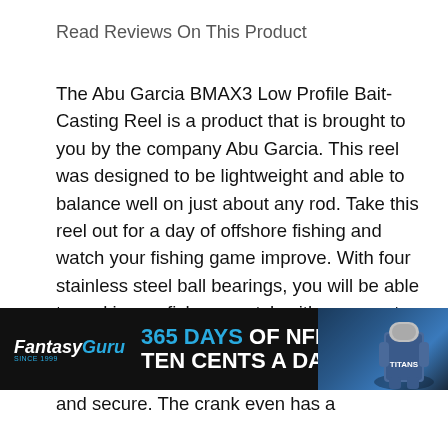Read Reviews On This Product
The Abu Garcia BMAX3 Low Profile Bait-Casting Reel is a product that is brought to you by the company Abu Garcia. This reel was designed to be lightweight and able to balance well on just about any rod. Take this reel out for a day of offshore fishing and watch your fishing game improve. With four stainless steel ball bearings, you will be able to reel in any fish you catch with ease, not snagging or ever getting rusted. Comes
[Figure (infographic): Fantasy Guru advertisement banner: black background with Fantasy Guru logo on left, bold text reading '365 DAYS OF NFL FOR TEN CENTS A DAY' in white and blue, and a football player photo on the right]
and secure. The crank even has a